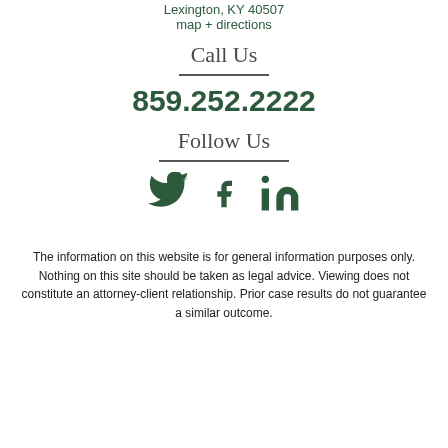Lexington, KY 40507
map + directions
Call Us
859.252.2222
Follow Us
[Figure (illustration): Social media icons for Twitter, Facebook, and LinkedIn in dark green]
The information on this website is for general information purposes only. Nothing on this site should be taken as legal advice. Viewing does not constitute an attorney-client relationship. Prior case results do not guarantee a similar outcome.